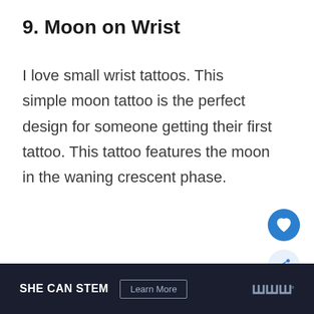9. Moon on Wrist
I love small wrist tattoos. This simple moon tattoo is the perfect design for someone getting their first tattoo. This tattoo features the moon in the waning crescent phase.
[Figure (other): Blue circular button with heart icon (favorite/like button)]
[Figure (other): Light blue circular button with share icon]
[Figure (other): Advertisement banner with dark background showing 'SHE CAN STEM' text and 'Learn More' button, with NBC Peacock logo on right]